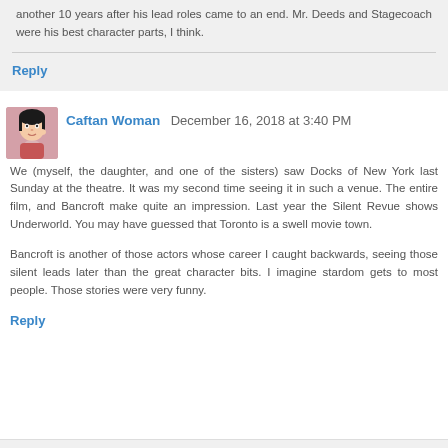another 10 years after his lead roles came to an end. Mr. Deeds and Stagecoach were his best character parts, I think.
Reply
Caftan Woman  December 16, 2018 at 3:40 PM
We (myself, the daughter, and one of the sisters) saw Docks of New York last Sunday at the theatre. It was my second time seeing it in such a venue. The entire film, and Bancroft make quite an impression. Last year the Silent Revue shows Underworld. You may have guessed that Toronto is a swell movie town.

Bancroft is another of those actors whose career I caught backwards, seeing those silent leads later than the great character bits. I imagine stardom gets to most people. Those stories were very funny.
Reply